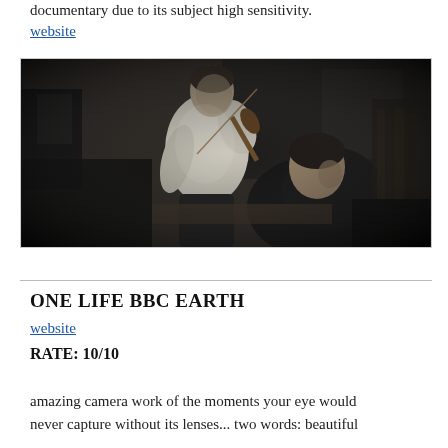documentary due to its subject high sensitivity.
website
[Figure (photo): Black and white historical photograph of two men, one standing and playing a violin in a white shirt, another sitting in the foreground in dark clothing, in a dimly lit interior setting.]
ONE LIFE BBC EARTH
website
RATE: 10/10
amazing camera work of the moments your eye would never capture without its lenses... two words: beautiful